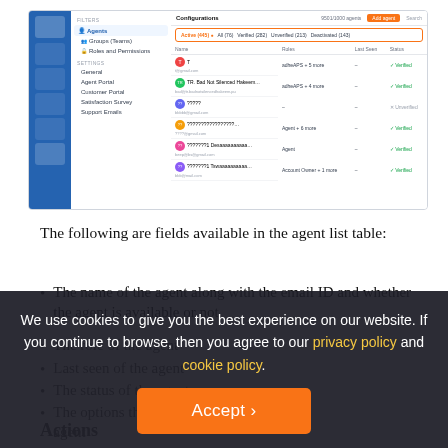[Figure (screenshot): Screenshot of a CRM/helpdesk configuration UI showing an Agents list with a sidebar navigation, filter tabs (Active, All, Verified, Unverified, Deactivated), and a table with columns Name, Roles, Last Seen, Status listing several agents.]
The following are fields available in the agent list table:
The name of the agent along with the email ID and whether the agent is available or not
The role of the agent
Last seen of the agent
The status of the agent
The options that can be done on each agent
Actions
We use cookies to give you the best experience on our website. If you continue to browse, then you agree to our privacy policy and cookie policy.